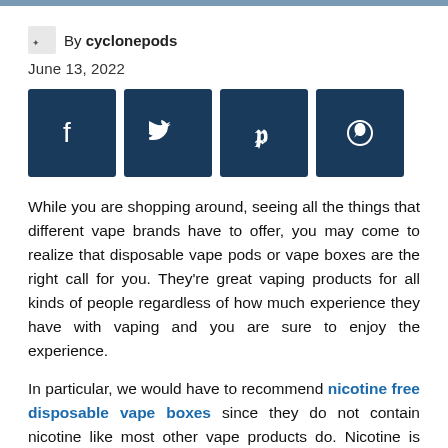By cyclonepods
June 13, 2022
[Figure (other): Social sharing buttons: Facebook, Twitter, Pinterest, WhatsApp]
While you are shopping around, seeing all the things that different vape brands have to offer, you may come to realize that disposable vape pods or vape boxes are the right call for you. They're great vaping products for all kinds of people regardless of how much experience they have with vaping and you are sure to enjoy the experience.
In particular, we would have to recommend nicotine free disposable vape boxes since they do not contain nicotine like most other vape products do. Nicotine is highly addictive and harmful to your health overall, so